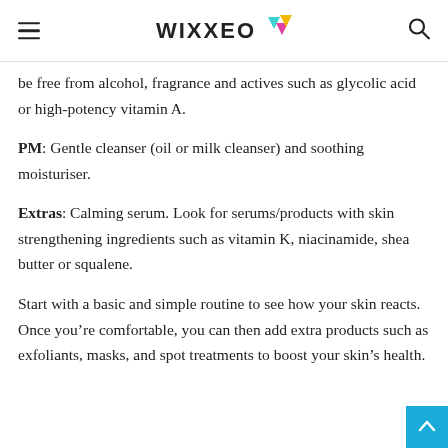WIXXEO
be free from alcohol, fragrance and actives such as glycolic acid or high-potency vitamin A.
PM: Gentle cleanser (oil or milk cleanser) and soothing moisturiser.
Extras: Calming serum. Look for serums/products with skin strengthening ingredients such as vitamin K, niacinamide, shea butter or squalene.
Start with a basic and simple routine to see how your skin reacts. Once you’re comfortable, you can then add extra products such as exfoliants, masks, and spot treatments to boost your skin’s health.